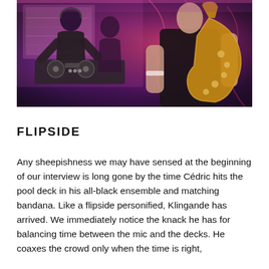[Figure (photo): Concert/performance photo showing a DJ at decks on the left under pink and purple stage lights, and a saxophone player in a black t-shirt on the right holding a gold saxophone, with vibrant pink and purple lighting throughout]
FLIPSIDE
Any sheepishness we may have sensed at the beginning of our interview is long gone by the time Cédric hits the pool deck in his all-black ensemble and matching bandana. Like a flipside personified, Klingande has arrived. We immediately notice the knack he has for balancing time between the mic and the decks. He coaxes the crowd only when the time is right, and then simply lets his infectious defenestration